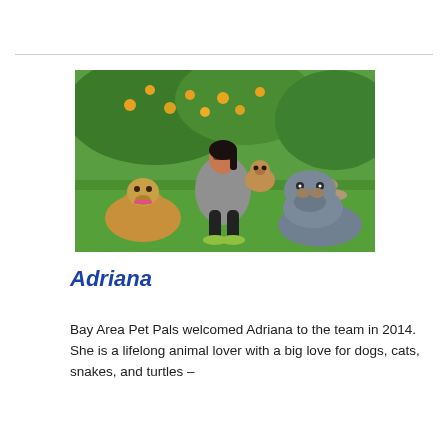[Figure (photo): A woman crouching on a green lawn, holding a small chihuahua-type dog in her right arm and hugging a larger golden-tan dog with her left arm. A gray/blue pit bull type dog sits in the foreground to the right. There are fruit trees with yellow/orange fruits in the background.]
Adriana
Bay Area Pet Pals welcomed Adriana to the team in 2014. She is a lifelong animal lover with a big love for dogs, cats, snakes, and turtles –